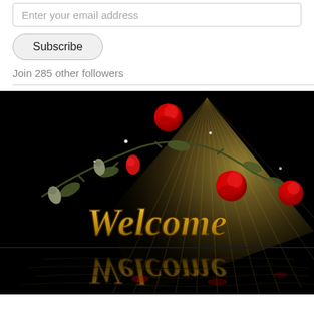Enter your email address
Subscribe
Join 285 other followers
[Figure (illustration): Decorative welcome image with black background, golden 'Welcome' text in cursive script with water reflection, red roses on thorny branches, and a golden fan-like gradient shape in the background.]